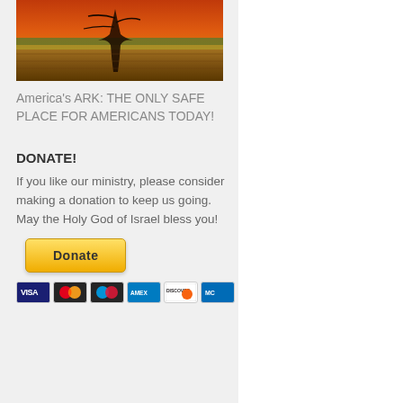[Figure (photo): A colorful sunset or abstract landscape image with warm orange, red, and green tones, with a dark silhouette of a tree or plant]
America's ARK: THE ONLY SAFE PLACE FOR AMERICANS TODAY!
DONATE!
If you like our ministry, please consider making a donation to keep us going. May the Holy God of Israel bless you!
[Figure (infographic): PayPal Donate button (yellow/gold) followed by payment card icons: Visa, Mastercard, Maestro, American Express, Discover, and another card]